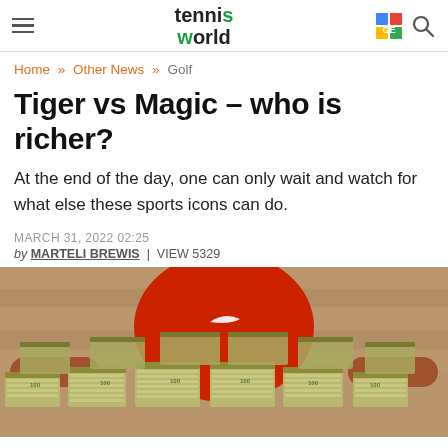Tennis World — site header with navigation
Home » Other News » Golf
Tiger vs Magic – who is richer?
At the end of the day, one can only wait and watch for what else these sports icons can do.
MARCH 31, 2022 02:25
by MARTELI BREWIS | VIEW 5329
[Figure (photo): Person in red Nike shirt behind large stacks of US dollar bills (bundled $100 bills)]